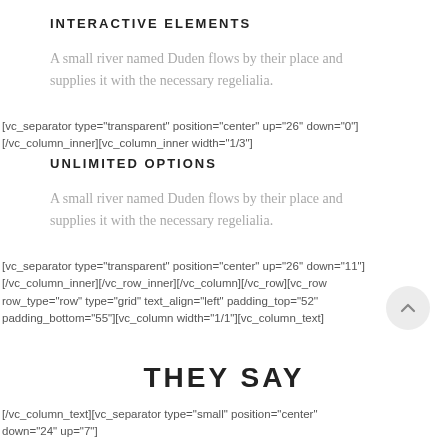INTERACTIVE ELEMENTS
A small river named Duden flows by their place and supplies it with the necessary regelialia.
[vc_separator type="transparent" position="center" up="26'' down="0"][/vc_column_inner][vc_column_inner width="1/3"]
UNLIMITED OPTIONS
A small river named Duden flows by their place and supplies it with the necessary regelialia.
[vc_separator type="transparent" position="center" up="26'' down="11"][/vc_column_inner][/vc_row_inner][/vc_column][/vc_row][vc_row row_type="row" type="grid" text_align="left" padding_top="52'' padding_bottom="55"][vc_column width="1/1"][vc_column_text]
THEY SAY
[/vc_column_text][vc_separator type="small" position="center" down="24" up="7"]